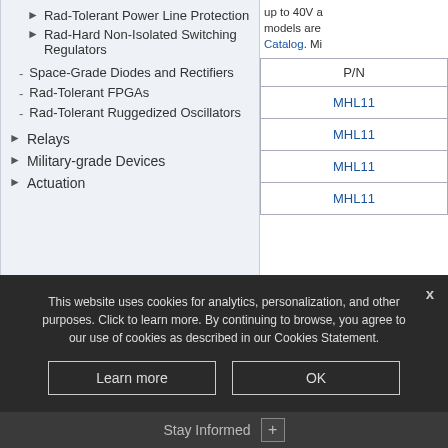▸ Rad-Tolerant Power Line Protection
▸ Rad-Hard Non-Isolated Switching Regulators
- Space-Grade Diodes and Rectifiers
- Rad-Tolerant FPGAs
- Rad-Tolerant Ruggedized Oscillators
▸ Relays
▸ Military-grade Devices
▸ Actuation
up to 40V a... models are... Catalog. Mi...
| P/N |
| --- |
| MHL1... |
| MHL1... |
| MHL1... |
| MHL1... |
This website uses cookies for analytics, personalization, and other purposes. Click to learn more. By continuing to browse, you agree to our use of cookies as described in our Cookies Statement.
Learn more
OK
Stay Informed